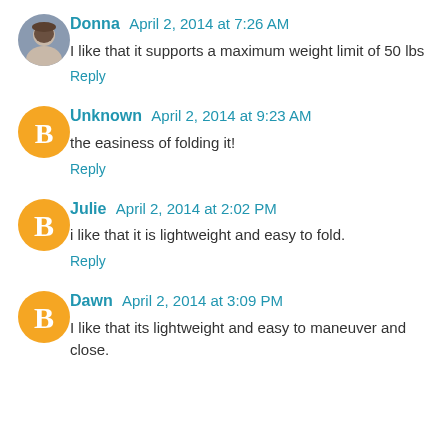[Figure (photo): Avatar photo of Donna - woman with dark hair]
Donna April 2, 2014 at 7:26 AM
I like that it supports a maximum weight limit of 50 lbs
Reply
[Figure (logo): Orange circle Blogger B icon for Unknown]
Unknown April 2, 2014 at 9:23 AM
the easiness of folding it!
Reply
[Figure (logo): Orange circle Blogger B icon for Julie]
Julie April 2, 2014 at 2:02 PM
i like that it is lightweight and easy to fold.
Reply
[Figure (logo): Orange circle Blogger B icon for Dawn]
Dawn April 2, 2014 at 3:09 PM
I like that its lightweight and easy to maneuver and close.